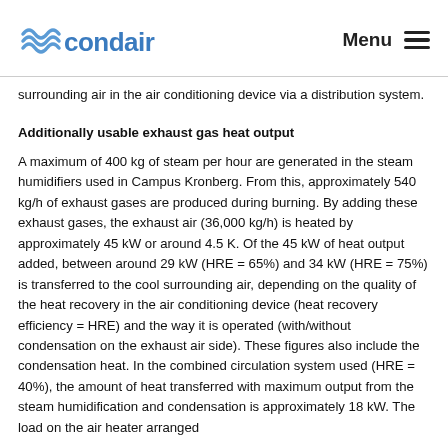condair | Menu
surrounding air in the air conditioning device via a distribution system.
Additionally usable exhaust gas heat output
A maximum of 400 kg of steam per hour are generated in the steam humidifiers used in Campus Kronberg. From this, approximately 540 kg/h of exhaust gases are produced during burning. By adding these exhaust gases, the exhaust air (36,000 kg/h) is heated by approximately 45 kW or around 4.5 K. Of the 45 kW of heat output added, between around 29 kW (HRE = 65%) and 34 kW (HRE = 75%) is transferred to the cool surrounding air, depending on the quality of the heat recovery in the air conditioning device (heat recovery efficiency = HRE) and the way it is operated (with/without condensation on the exhaust air side). These figures also include the condensation heat. In the combined circulation system used (HRE = 40%), the amount of heat transferred with maximum output from the steam humidification and condensation is approximately 18 kW. The load on the air heater arranged